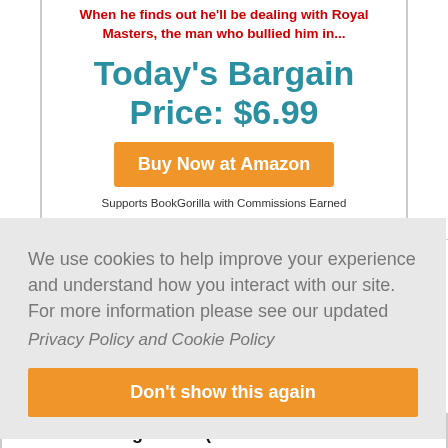When he finds out he'll be dealing with Royal Masters, the man who bullied him in...
Today's Bargain Price: $6.99
Buy Now at Amazon
Supports BookGorilla with Commissions Earned
Categories: All Romance
We use cookies to help improve your experience and understand how you interact with our site. For more information please see our updated
Privacy Policy and Cookie Policy
Don't show this again
Smoldering Flame (Rekindled Flame Book